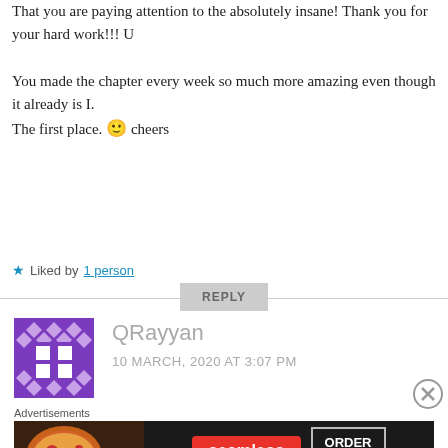That you are paying attention to the absolutely insane! Thank you for your hard work!!! U
You made the chapter every week so much more amazing even though it already is I. The first place. 🙂 cheers
★ Liked by 1 person
REPLY
[Figure (logo): Purple diamond/grid pattern avatar for user QRayyan]
QRayyan
10 MARCH, 2020 AT 3:07 PM
Advertisements
[Figure (screenshot): Seamless food delivery advertisement banner with pizza image, Seamless red logo badge, and ORDER NOW button on dark background]